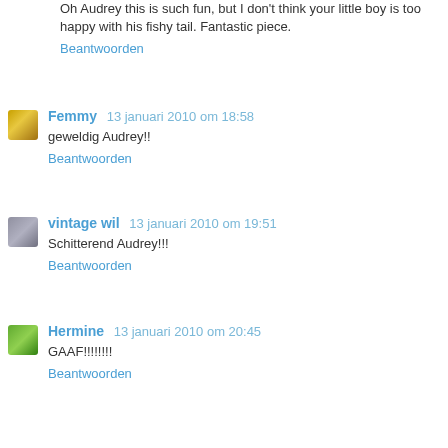Oh Audrey this is such fun, but I don't think your little boy is too happy with his fishy tail. Fantastic piece.
Beantwoorden
Femmy  13 januari 2010 om 18:58
geweldig Audrey!!
Beantwoorden
vintage wil  13 januari 2010 om 19:51
Schitterend Audrey!!!
Beantwoorden
Hermine  13 januari 2010 om 20:45
GAAF!!!!!!!!!
Beantwoorden